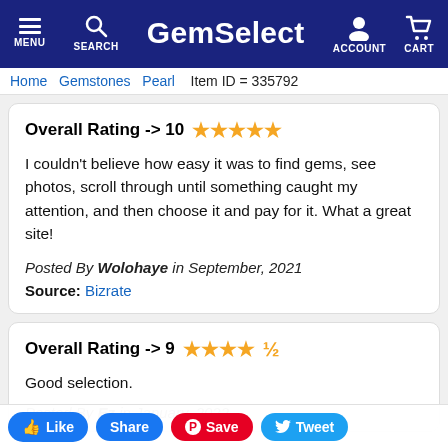GemSelect — MENU, SEARCH, ACCOUNT, CART
Home > Gemstones > Pearl   Item ID = 335792
Overall Rating -> 10 ★★★★★

I couldn't believe how easy it was to find gems, see photos, scroll through until something caught my attention, and then choose it and pay for it. What a great site!

Posted By Wolohaye in September, 2021
Source: Bizrate
Overall Rating -> 9 ★★★★½

Good selection.

Posted By Ez in January, 2022